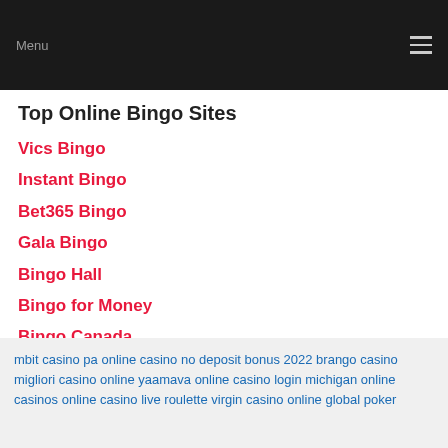Menu
Top Online Bingo Sites
Vics Bingo
Instant Bingo
Bet365 Bingo
Gala Bingo
Bingo Hall
Bingo for Money
Bingo Canada
mbit casino pa online casino no deposit bonus 2022 brango casino migliori casino online yaamava online casino login michigan online casinos online casino live roulette virgin casino online global poker